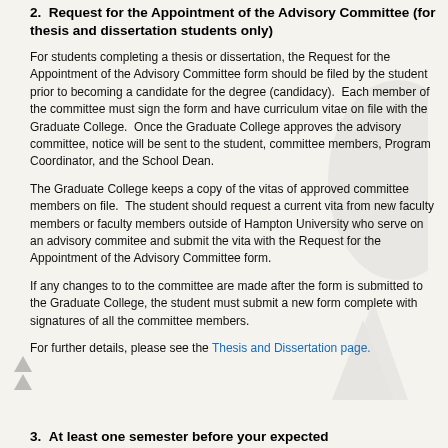2.  Request for the Appointment of the Advisory Committee (for thesis and dissertation students only)
For students completing a thesis or dissertation, the Request for the Appointment of the Advisory Committee form should be filed by the student prior to becoming a candidate for the degree (candidacy).  Each member of the committee must sign the form and have curriculum vitae on file with the Graduate College.  Once the Graduate College approves the advisory committee, notice will be sent to the student, committee members, Program Coordinator, and the School Dean.
The Graduate College keeps a copy of the vitas of approved committee members on file.  The student should request a current vita from new faculty members or faculty members outside of Hampton University who serve on an advisory commitee and submit the vita with the Request for the Appointment of the Advisory Committee form.
If any changes to to the committee are made after the form is submitted to the Graduate College, the student must submit a new form complete with signatures of all the committee members.
For further details, please see the Thesis and Dissertation page.
3.  At least one semester before your expected